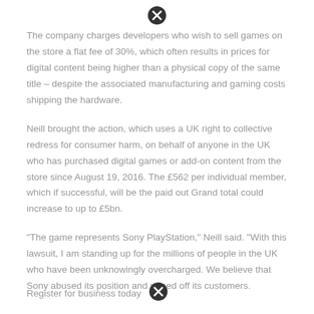[Figure (other): Close/dismiss icon (circled X) at top center]
The company charges developers who wish to sell games on the store a flat fee of 30%, which often results in prices for digital content being higher than a physical copy of the same title – despite the associated manufacturing and gaming costs shipping the hardware.
Neill brought the action, which uses a UK right to collective redress for consumer harm, on behalf of anyone in the UK who has purchased digital games or add-on content from the store since August 19, 2016. The £562 per individual member, which if successful, will be the paid out Grand total could increase to up to £5bn.
“The game represents Sony PlayStation,” Neill said. “With this lawsuit, I am standing up for the millions of people in the UK who have been unknowingly overcharged. We believe that Sony abused its position and ripped off its customers.
Register for business today
[Figure (other): Close/dismiss icon (circled X) at bottom center-right]